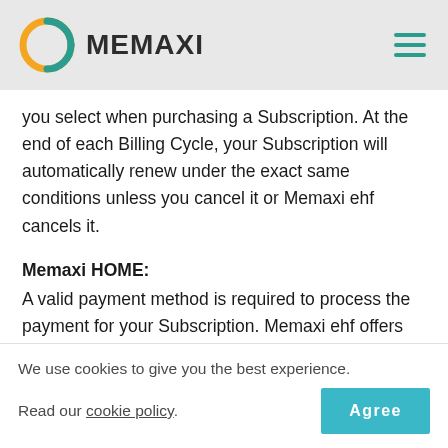MEMAXI
you select when purchasing a Subscription. At the end of each Billing Cycle, your Subscription will automatically renew under the exact same conditions unless you cancel it or Memaxi ehf cancels it.
Memaxi HOME:
A valid payment method is required to process the payment for your Subscription. Memaxi ehf offers payments through
We use cookies to give you the best experience. Read our cookie policy. Agree